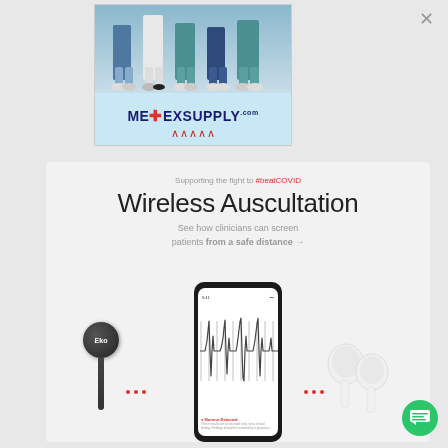[Figure (advertisement): MedExSupply.com advertisement banner showing medical workers' legs/feet and the MedExSupply logo with ECG line]
[Figure (advertisement): Eko Wireless Auscultation advertisement showing stethoscope (Eko), smartphone with waveform display, and AirPods with text: Supporting the fight to #beatCOVID, Wireless Auscultation, See how clinicians can screen patients from a safe distance]
Supporting the fight to #beatCOVID
Wireless Auscultation
See how clinicians can screen patients from a safe distance →